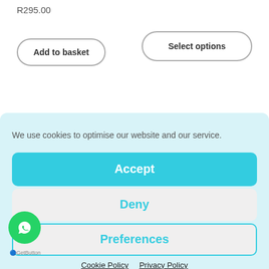R295.00
Add to basket
Select options
We use cookies to optimise our website and our service.
Accept
Deny
Preferences
Cookie Policy   Privacy Policy